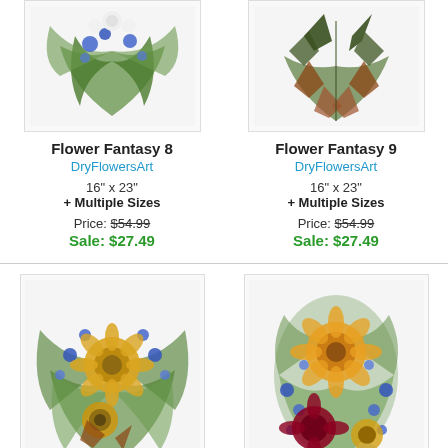[Figure (photo): Pressed flower arrangement - Flower Fantasy 8, top partial view showing green ferns and blue/white flowers]
Flower Fantasy 8
DryFlowersArt
16" x 23"
+ Multiple Sizes
Price: $54.99
Sale: $27.49
[Figure (photo): Pressed flower arrangement - Flower Fantasy 9, top partial view showing elongated green and brown/reddish leaves]
Flower Fantasy 9
DryFlowersArt
16" x 23"
+ Multiple Sizes
Price: $54.99
Sale: $27.49
[Figure (photo): Pressed flower arrangement - Flower Fantasy 10, full card showing green ferns, blue flowers, yellow sunflowers]
Flower Fantasy 10
DryFlowersArt
16" x 23"
[Figure (photo): Pressed flower arrangement - Flower Fantasy 11, oval arrangement with orange daisy, dark red flower, blue flowers, yellow leaves]
Flower Fantasy 11
DryFlowersArt
16" x 23"